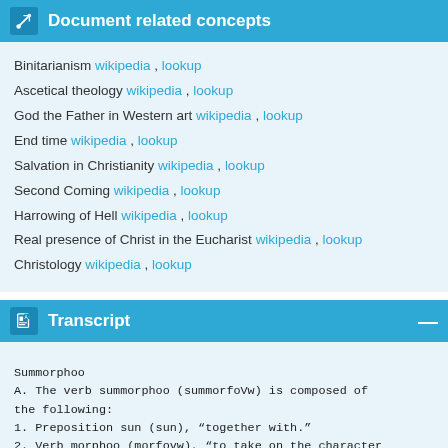Document related concepts
Binitarianism wikipedia , lookup
Ascetical theology wikipedia , lookup
God the Father in Western art wikipedia , lookup
End time wikipedia , lookup
Salvation in Christianity wikipedia , lookup
Second Coming wikipedia , lookup
Harrowing of Hell wikipedia , lookup
Real presence of Christ in the Eucharist wikipedia , lookup
Christology wikipedia , lookup
Transcript
Summorphoo
A. The verb summorphoo (summorfoVw) is composed of the following:
1. Preposition sun (sun), “together with.”
2. Verb morphoo (morfovw), “to take on the character of something or someone.”